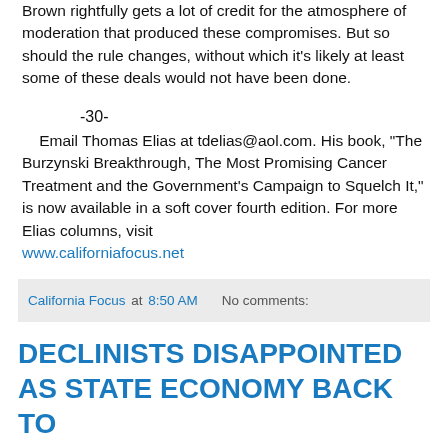Brown rightfully gets a lot of credit for the atmosphere of moderation that produced these compromises. But so should the rule changes, without which it's likely at least some of these deals would not have been done.
-30-
Email Thomas Elias at tdelias@aol.com. His book, "The Burzynski Breakthrough, The Most Promising Cancer Treatment and the Government's Campaign to Squelch It," is now available in a soft cover fourth edition. For more Elias columns, visit www.californiafocus.net
California Focus at 8:50 AM   No comments:
DECLINISTS DISAPPOINTED AS STATE ECONOMY BACK TO